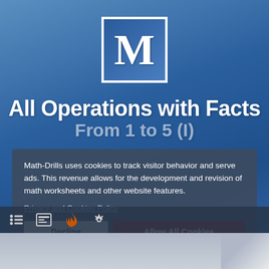[Figure (logo): Math-Drills logo: white letter M in bold serif font inside a blue square with white border]
All Operations with Facts From 1 to 5 (I)
Math-Drills uses cookies to track visitor behavior and serve ads. This revenue allows for the development and revision of math worksheets and other website features.
Privacy and Cookies Policy
Decline
Allow All Cookies